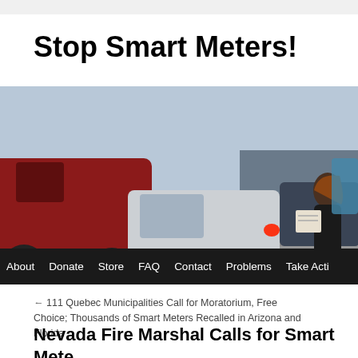Stop Smart Meters!
[Figure (photo): A person standing between cars on a street, handing or displaying papers to drivers. Traffic and parked cars visible in background.]
About   Donate   Store   FAQ   Contact   Problems   Take Acti...
← 111 Quebec Municipalities Call for Moratorium, Free Choice; Thousands of Smart Meters Recalled in Arizona and Florida
Nevada Fire Marshal Calls for Smart Mete... Fire Death in Reno